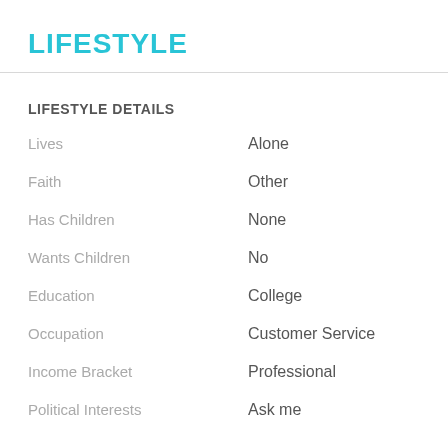LIFESTYLE
LIFESTYLE DETAILS
Lives: Alone
Faith: Other
Has Children: None
Wants Children: No
Education: College
Occupation: Customer Service
Income Bracket: Professional
Political Interests: Ask me